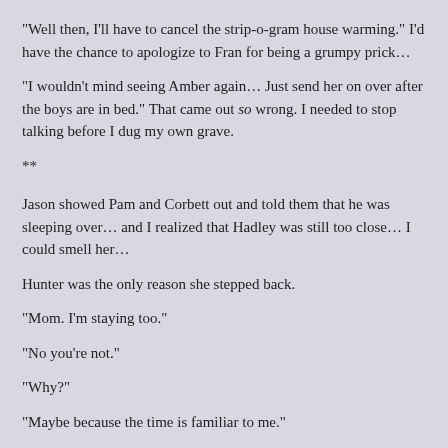“Well then, I’ll have to cancel the strip-o-gram house warming.” I’d have the chance to apologize to Fran for being a grumpy prick…
“I wouldn’t mind seeing Amber again… Just send her on over after the boys are in bed.” That came out so wrong. I needed to stop talking before I dug my own grave.
**
Jason showed Pam and Corbett out and told them that he was sleeping over… and I realized that Hadley was still too close… I could smell her…
Hunter was the only reason she stepped back.
“Mom. I’m staying too.”
“No you’re not.”
“Why?”
“Maybe because the time is familiar to me.”